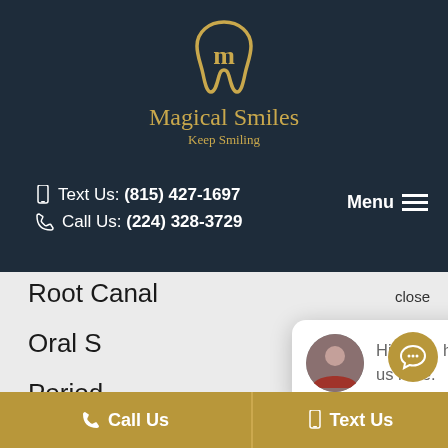[Figure (logo): Magical Smiles dental logo with golden tooth and M letter]
Magical Smiles
Keep Smiling
Text Us: (815) 427-1697
Call Us: (224) 328-3729
Menu
Root Canal
close
Oral S
Period
Children's Dentistry
Hi there, have a question? Text us here.
Call Us
Text Us
Emergency Dental Services